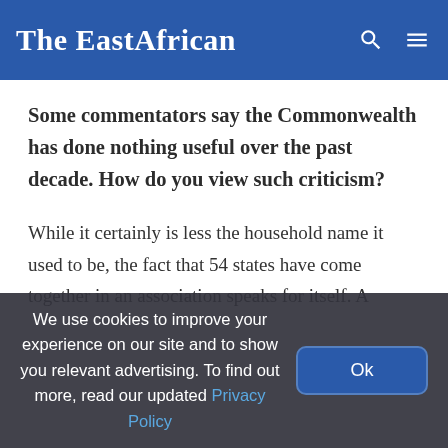The EastAfrican
Some commentators say the Commonwealth has done nothing useful over the past decade. How do you view such criticism?
While it certainly is less the household name it used to be, the fact that 54 states have come together in an association speaks for itself. A
We use cookies to improve your experience on our site and to show you relevant advertising. To find out more, read our updated Privacy Policy